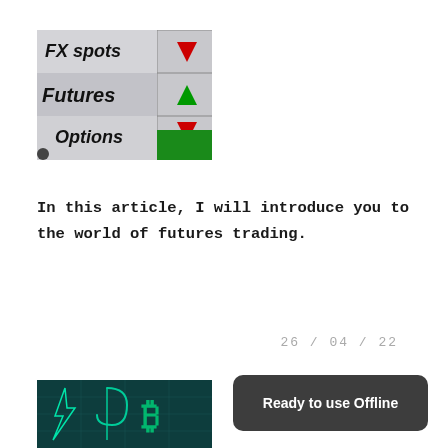[Figure (photo): Close-up photo of a trading screen showing FX spots, Futures, and Options with red and green triangle arrows indicating market movement]
In this article, I will introduce you to the world of futures trading.
26 / 04 / 22
[Figure (photo): Dark teal background image with glowing green cryptocurrency symbols including a Bitcoin logo with a hook/phishing imagery]
Ready to use Offline